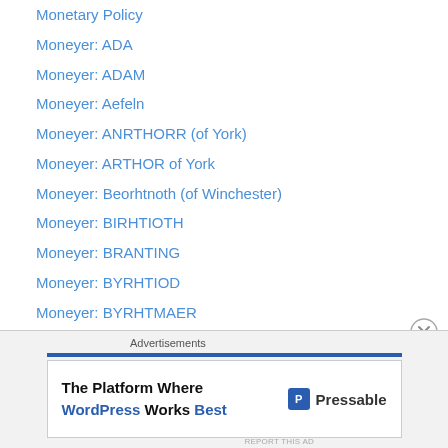Monetary Policy
Moneyer: ADA
Moneyer: ADAM
Moneyer: Aefeln
Moneyer: ANRTHORR (of York)
Moneyer: ARTHOR of York
Moneyer: Beorhtnoth (of Winchester)
Moneyer: BIRHTIOTH
Moneyer: BRANTING
Moneyer: BYRHTIOD
Moneyer: BYRHTMAER
Moneyer: CAR
Moneyer: COLBRAND
Moneyer: DGDOAN
Moneyer: ELIS
Moneyer: EOLE
Advertisements
The Platform Where WordPress Works Best — Pressable